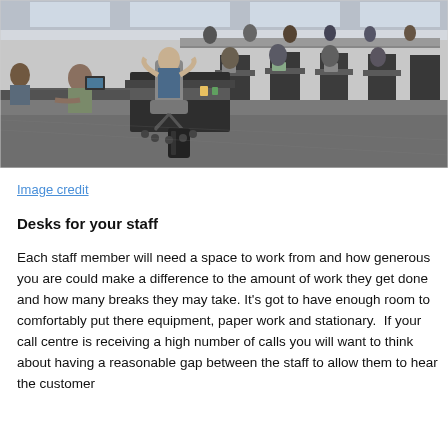[Figure (photo): Open-plan call centre or office space with many people sitting at rows of desks working on computers and laptops. The space has a concrete floor and modern workstations with dark dividers.]
Image credit
Desks for your staff
Each staff member will need a space to work from and how generous you are could make a difference to the amount of work they get done and how many breaks they may take. It’s got to have enough room to comfortably put there equipment, paper work and stationary.  If your call centre is receiving a high number of calls you will want to think about having a reasonable gap between the staff to allow them to hear the customer